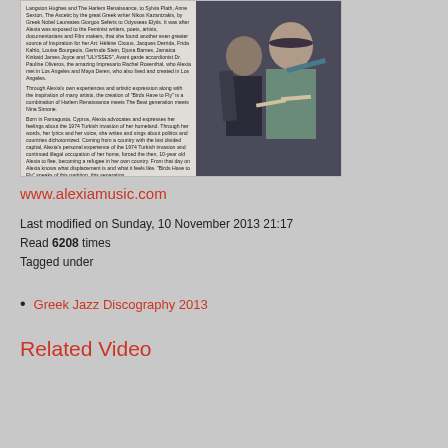[Figure (photo): Article excerpt with text columns and a black-and-white photo of two people looking at papers together]
www.alexiamusic.com
Last modified on Sunday, 10 November 2013 21:17
Read 6208 times
Tagged under
Greek Jazz Discography 2013
Related Video